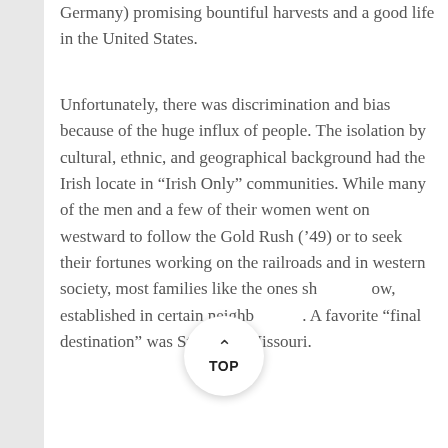Germany) promising bountiful harvests and a good life in the United States.
Unfortunately, there was discrimination and bias because of the huge influx of people. The isolation by cultural, ethnic, and geographical background had the Irish locate in “Irish Only” communities. While many of the men and a few of their women went on westward to follow the Gold Rush (’49) or to seek their fortunes working on the railroads and in western society, most families like the ones shown below, established in certain neighborhoods. A favorite “final destination” was St. Louis, Missouri.